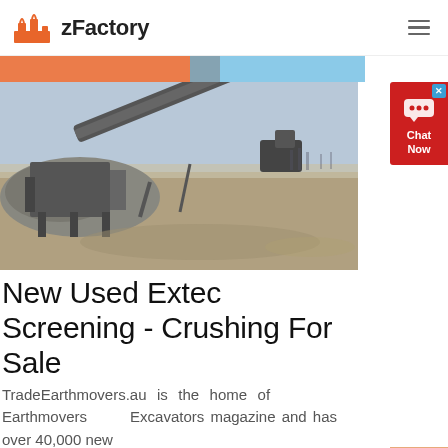zFactory
[Figure (photo): Industrial crushing and screening machine on a dirt field with conveyor belt extended upward at an angle, grey overcast sky]
New Used Extec Screening - Crushing For Sale
TradeEarthmovers.au is the home of Earthmovers Excavators magazine and has over 40,000 new and used...
[Figure (photo): Earthmoving or mining vehicles on red dirt landscape]